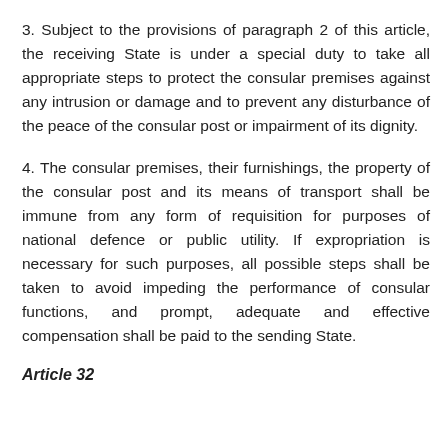3. Subject to the provisions of paragraph 2 of this article, the receiving State is under a special duty to take all appropriate steps to protect the consular premises against any intrusion or damage and to prevent any disturbance of the peace of the consular post or impairment of its dignity.
4. The consular premises, their furnishings, the property of the consular post and its means of transport shall be immune from any form of requisition for purposes of national defence or public utility. If expropriation is necessary for such purposes, all possible steps shall be taken to avoid impeding the performance of consular functions, and prompt, adequate and effective compensation shall be paid to the sending State.
Article 32